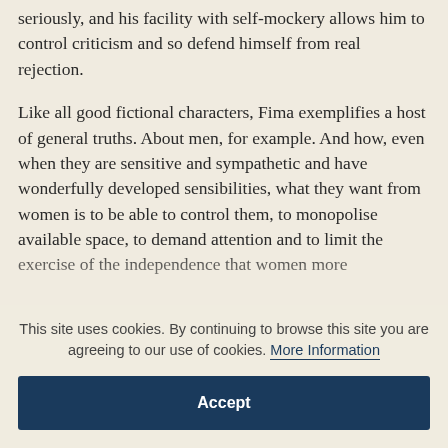seriously, and his facility with self-mockery allows him to control criticism and so defend himself from real rejection.
Like all good fictional characters, Fima exemplifies a host of general truths. About men, for example. And how, even when they are sensitive and sympathetic and have wonderfully developed sensibilities, what they want from women is to be able to control them, to monopolise available space, to demand attention and to limit the exercise of the independence that women more
This site uses cookies. By continuing to browse this site you are agreeing to our use of cookies. More Information
Accept